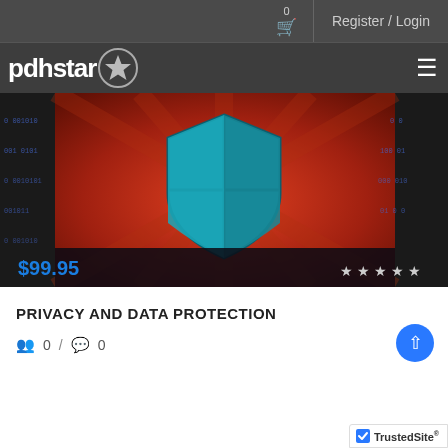0  Register / Login
[Figure (logo): pdhstar logo with star in circle on dark background]
[Figure (photo): Hero image showing a teal security shield on an orange background with binary code overlay. Price $99.95 shown bottom left, 5 stars shown bottom right.]
PRIVACY AND DATA PROTECTION
0 / 0
[Figure (other): TrustedSite badge bottom right]